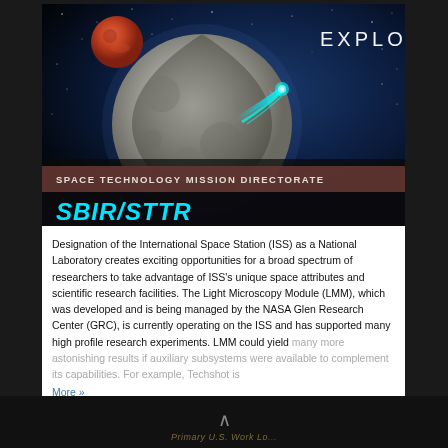[Figure (illustration): Space scene showing the Moon in the center with a red planet (Mars) in upper left, a spacecraft with a cyan/teal exhaust trail flying past the moon, against a starry dark blue/black space background. Text 'EXPLORE' in white letters top right. Bottom portion has a brownish-red banner with 'SPACE TECHNOLOGY MISSION DIRECTORATE' and a dark banner with 'SBIR/STTR' in large cyan bold italic letters.]
Designation of the International Space Station (ISS) as a National Laboratory creates exciting opportunities for a broad spectrum of researchers to take advantage of ISS's unique space attributes and scientific research facilities. The Light Microscopy Module (LMM), which was developed and is being managed by the NASA Glen Research Center (GRC), is currently operating on the ISS and has supported many high profile research experiments. LMM could yield many more astonishing results if auxiliary subsystems were available to complement its capabilities. For example, Techshot is
More »
Primary U.S. Work Location and Key Partner...